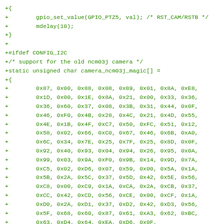+{
+        gpio_set_value(GPIO_PTZ5, val); /* RST_CAM/RSTB */
+        mdelay(10);
+}
+
+#ifdef CONFIG_I2C
+/* support for the old ncm03j camera */
+static unsigned char camera_ncm03j_magic[] =
+{
+        0x87, 0x00, 0x88, 0x08, 0x89, 0x01, 0x8A, 0xE8,
+        0x1D, 0x00, 0x1E, 0x8A, 0x21, 0x00, 0x33, 0x36,
+        0x36, 0x60, 0x37, 0x08, 0x3B, 0x31, 0x44, 0x0F,
+        0x46, 0xF0, 0x4B, 0x28, 0x4C, 0x21, 0x4D, 0x55,
+        0x4E, 0x1B, 0x4F, 0xC7, 0x50, 0xFC, 0x51, 0x12,
+        0x58, 0x02, 0x66, 0xC0, 0x67, 0x46, 0x6B, 0xA0,
+        0x6C, 0x34, 0x7E, 0x25, 0x7F, 0x25, 0x8D, 0x0F,
+        0x92, 0x40, 0x93, 0x04, 0x94, 0x26, 0x95, 0x0A,
+        0x99, 0x03, 0x9A, 0xF0, 0x9B, 0x14, 0x9D, 0x7A,
+        0xC5, 0x02, 0xD6, 0x07, 0x59, 0x00, 0x5A, 0x1A,
+        0x5B, 0x2A, 0x5C, 0x37, 0x5D, 0x42, 0x5E, 0x56,
+        0xC8, 0x00, 0xC9, 0x1A, 0xCA, 0x2A, 0xCB, 0x37,
+        0xCC, 0x42, 0xCD, 0x56, 0xCE, 0x00, 0xCF, 0x1A,
+        0xD0, 0x2A, 0xD1, 0x37, 0xD2, 0x42, 0xD3, 0x56,
+        0x5F, 0x68, 0x60, 0x87, 0x61, 0xA3, 0x62, 0xBC,
+        0x63, 0xD4, 0x64, 0xEA, 0xD6, 0x0F,